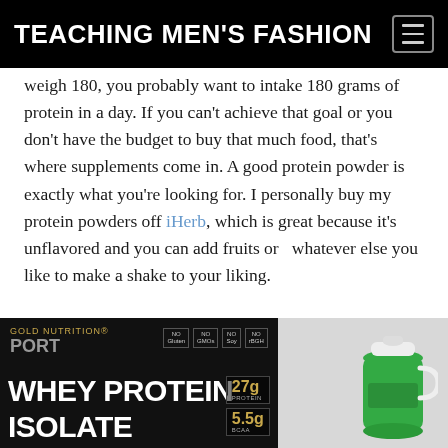TEACHING MEN'S FASHION
weigh 180, you probably want to intake 180 grams of protein in a day. If you can't achieve that goal or you don't have the budget to buy that much food, that's where supplements come in. A good protein powder is exactly what you're looking for. I personally buy my protein powders off iHerb, which is great because it's unflavored and you can add fruits or  whatever else you like to make a shake to your liking.
[Figure (photo): Product photo of a black bag of Gold Nutrition Sport Whey Protein Isolate (27g protein, 5.5g BCAA) next to a green protein shaker bottle on a light background.]